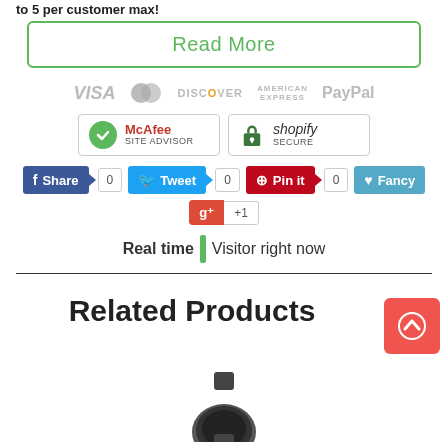to 5 per customer max!
Read More
[Figure (logo): Payment method logos: VISA, MasterCard, DISCOVER, AMERICAN EXPRESS, PayPal]
[Figure (logo): Security badges: McAfee Site Advisor and Shopify Secure]
[Figure (infographic): Social share buttons: Share (0), Tweet (0), Pin it (0), Fancy, and Google+ (+1)]
Real time  Visitor right now
Related Products
[Figure (photo): Watch product image, partial view at bottom of page]